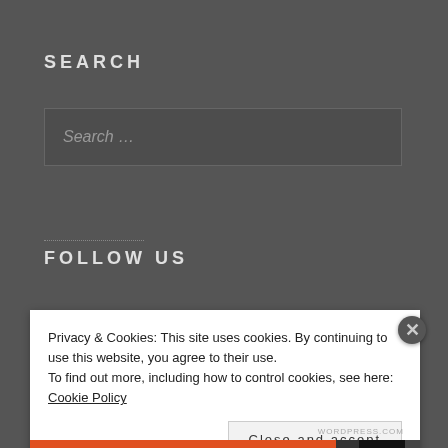SEARCH
Search …
FOLLOW US
Privacy & Cookies: This site uses cookies. By continuing to use this website, you agree to their use.
To find out more, including how to control cookies, see here: Cookie Policy
Close and accept